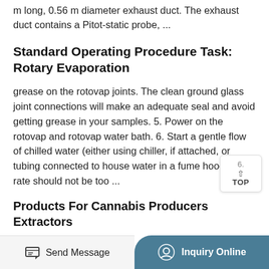m long, 0.56 m diameter exhaust duct. The exhaust duct contains a Pitot-static probe, ...
Standard Operating Procedure Task: Rotary Evaporation
grease on the rotovap joints. The clean ground glass joint connections will make an adequate seal and avoid getting grease in your samples. 5. Power on the rotovap and rotovap water bath. 6. Start a gentle flow of chilled water (either using chiller, if attached, or tubing connected to house water in a fume hood; flow rate should not be too ...
Products For Cannabis Producers Extractors
Heidolph Rotovap Food-Grade Storage Containers